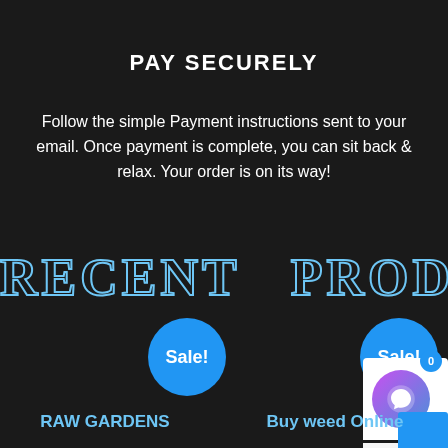PAY SECURELY
Follow the simple Payment instructions sent to your email. Once payment is complete, you can sit back & relax. Your order is on its way!
RECENT PRODUCTS
Sale!
Sale!
RAW GARDENS
Buy weed Online